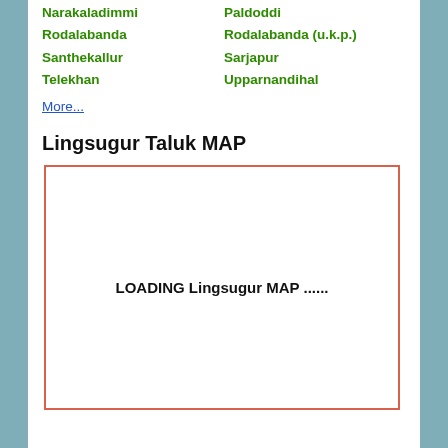Narakaladimmi
Rodalabanda
Santhekallur
Telekhan
Paldoddi
Rodalabanda (u.k.p.)
Sarjapur
Upparnandihal
More...
Lingsugur Taluk MAP
[Figure (map): Loading placeholder box for Lingsugur MAP with orange/red border and text 'LOADING Lingsugur MAP ......']